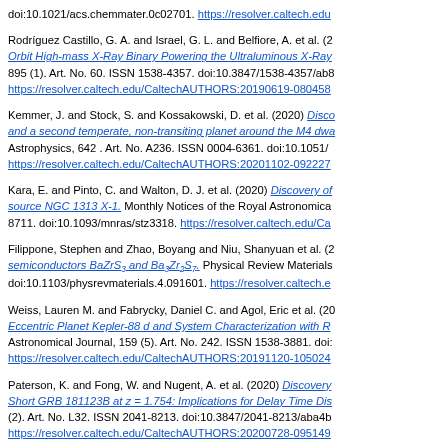doi:10.1021/acs.chemmater.0c02701. https://resolver.caltech.edu
Rodríguez Castillo, G. A. and Israel, G. L. and Belfiore, A. et al. (2... Orbit High-mass X-Ray Binary Powering the Ultraluminous X-Ray... 895 (1). Art. No. 60. ISSN 1538-4357. doi:10.3847/1538-4357/ab8... https://resolver.caltech.edu/CaltechAUTHORS:20190619-080458
Kemmer, J. and Stock, S. and Kossakowski, D. et al. (2020) Disco... and a second temperate, non-transiting planet around the M4 dwa... Astrophysics, 642 . Art. No. A236. ISSN 0004-6361. doi:10.1051/0... https://resolver.caltech.edu/CaltechAUTHORS:20201102-092227
Kara, E. and Pinto, C. and Walton, D. J. et al. (2020) Discovery of... source NGC 1313 X-1. Monthly Notices of the Royal Astronomica... 8711. doi:10.1093/mnras/stz3318. https://resolver.caltech.edu/Ca
Filippone, Stephen and Zhao, Boyang and Niu, Shanyuan et al. (2... semiconductors BaZrS3 and Ba3Zr2S7. Physical Review Materials... doi:10.1103/physrevmaterials.4.091601. https://resolver.caltech.e
Weiss, Lauren M. and Fabrycky, Daniel C. and Agol, Eric et al. (20... Eccentric Planet Kepler-88 d and System Characterization with R... Astronomical Journal, 159 (5). Art. No. 242. ISSN 1538-3881. doi:... https://resolver.caltech.edu/CaltechAUTHORS:20191120-105024
Paterson, K. and Fong, W. and Nugent, A. et al. (2020) Discovery... Short GRB 181123B at z = 1.754: Implications for Delay Time Dis... (2). Art. No. L32. ISSN 2041-8213. doi:10.3847/2041-8213/aba4b... https://resolver.caltech.edu/CaltechAUTHORS:20200728-095149